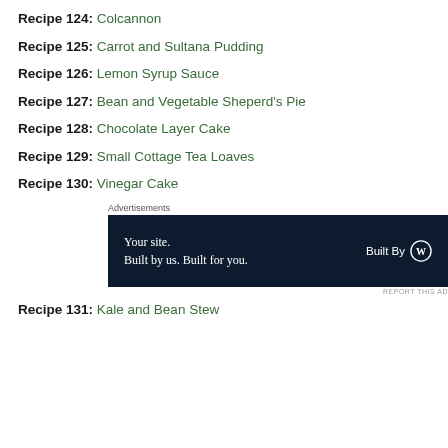Recipe 124: Colcannon
Recipe 125: Carrot and Sultana Pudding
Recipe 126: Lemon Syrup Sauce
Recipe 127: Bean and Vegetable Sheperd's Pie
Recipe 128: Chocolate Layer Cake
Recipe 129: Small Cottage Tea Loaves
Recipe 130: Vinegar Cake
[Figure (infographic): Advertisement banner: 'Your site. Built by us. Built for you.' with WordPress Built By logo on dark navy background]
Recipe 131: Kale and Bean Stew